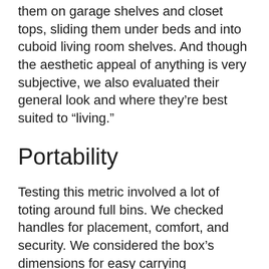them on garage shelves and closet tops, sliding them under beds and into cuboid living room shelves. And though the aesthetic appeal of anything is very subjective, we also evaluated their general look and where they're best suited to “living.”
Portability
Testing this metric involved a lot of toting around full bins. We checked handles for placement, comfort, and security. We considered the box’s dimensions for easy carrying downstairs and through doorways. And we scrutinized how gracefully each could handle a load of seriously heavy books.